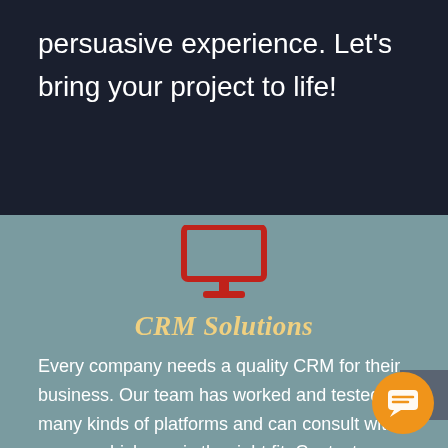persuasive experience. Let's bring your project to life!
[Figure (illustration): Red desktop monitor icon centered on teal-gray background]
CRM Solutions
Every company needs a quality CRM for their business. Our team has worked and tested many kinds of platforms and can consult with you on which one is the right fit. Contact us.